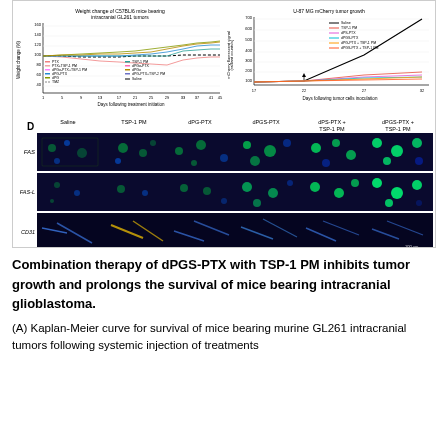[Figure (line-chart): Multi-line chart showing weight change percentage over days following treatment initiation for multiple treatment groups including PTX, PTX+TSP-1 PM, dPGo-PTX+TSP-1 PM, dPG-PTX, dPG, TMZ, TSP-1 PM, dPGo-PTX, dPGo, dPG-PTX+TSP-2 PM, Saline]
[Figure (line-chart): Multi-line chart showing tumor growth over days following inoculation for Saline, TSP-1 PM, dPS-PTX, dPGS-PTX, dPG-PTX+TSP-1 PM, dPGS-PTX+TSP-1 PM]
[Figure (photo): Immunofluorescence microscopy images panel D showing FAS, FAS-L, and CD31 staining across treatment groups: Saline, TSP-1 PM, dPG-PTX, dPGS-PTX, dPS-PTX + TSP-1 PM, dPGS-PTX + TSP-1 PM]
Combination therapy of dPGS-PTX with TSP-1 PM inhibits tumor growth and prolongs the survival of mice bearing intracranial glioblastoma.
(A) Kaplan-Meier curve for survival of mice bearing murine GL261 intracranial tumors following systemic injection of treatments